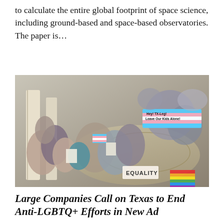to calculate the entire global footprint of space science, including ground-based and space-based observatories. The paper is…
[Figure (photo): Overhead view of a crowd of protesters inside a large building with columns, holding signs including one reading 'EQUALITY' and a trans pride flag banner reading 'Hey! TX-Leg! Leave Our Kids Alone!']
Large Companies Call on Texas to End Anti-LGBTQ+ Efforts in New Ad
BY FELICIA LOPEZ ON MARCH 14, 2022
More than 60 major corporations have signed an open letter calling on Texas Gov. Greg Abbott (R) to…